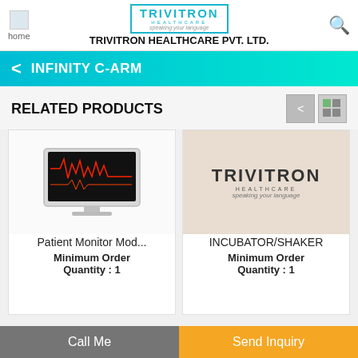home | TRIVITRON HEALTHCARE | TRIVITRON HEALTHCARE PVT. LTD.
INFINITY C-ARM
RELATED PRODUCTS
[Figure (screenshot): Product image of a patient monitor with red waveforms on dark screen]
Patient Monitor Mod...
Minimum Order Quantity : 1
[Figure (logo): Trivitron Healthcare logo with 'speaking your language' tagline on beige background]
INCUBATOR/SHAKER
Minimum Order Quantity : 1
Call Me
Send Inquiry